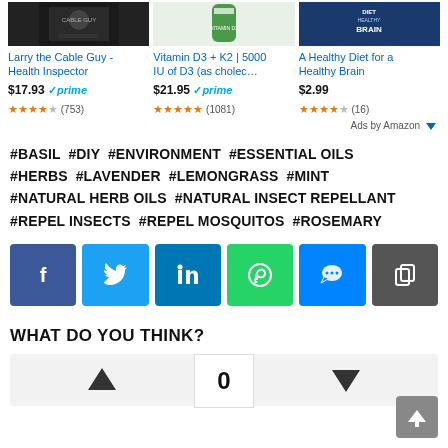[Figure (screenshot): Amazon ad product image 1 - Larry the Cable Guy Health Inspector DVD cover]
[Figure (screenshot): Amazon ad product image 2 - Vitamin D3 + K2 supplement bottle]
[Figure (screenshot): Amazon ad product image 3 - A Healthy Diet for a Healthy Brain book cover]
Larry the Cable Guy - Health Inspector
Vitamin D3 + K2 | 5000 IU of D3 (as cholec…
A Healthy Diet for a Healthy Brain
$17.93 ✓prime ★★★★½ (753)
$21.95 ✓prime ★★★★★ (1081)
$2.99 ★★★★☆ (16)
Ads by Amazon
#BASIL  #DIY  #ENVIRONMENT  #ESSENTIAL OILS  #HERBS  #LAVENDER  #LEMONGRASS  #MINT  #NATURAL HERB OILS  #NATURAL INSECT REPELLANT  #REPEL INSECTS  #REPEL MOSQUITOS  #ROSEMARY
[Figure (infographic): Social share buttons: Facebook, Twitter, LinkedIn, WhatsApp, Messenger, Copy]
WHAT DO YOU THINK?
[Figure (infographic): Vote widget showing up arrow, 0 count, and down arrow]